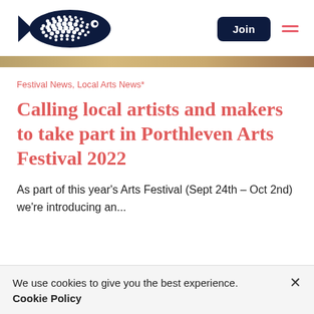[Figure (logo): Porthleven Arts Festival fish logo — dark navy blue fish made of dots/circles facing right, on white background]
Festival News, Local Arts News*
Calling local artists and makers to take part in Porthleven Arts Festival 2022
As part of this year's Arts Festival (Sept 24th – Oct 2nd) we're introducing an...
We use cookies to give you the best experience. Cookie Policy